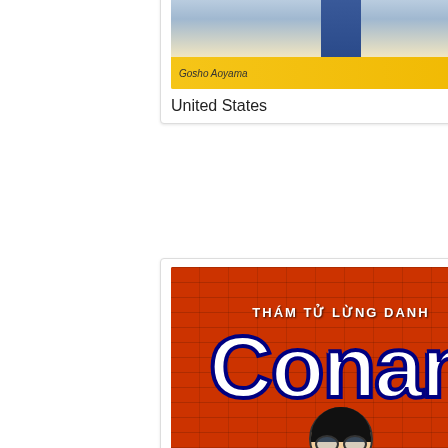[Figure (illustration): Manga book cover for Detective Conan Vol. 59 - United States edition, partially cropped at top showing yellow/tan bottom bar with 'Gosho Aoyama Vol.59']
United States
[Figure (illustration): Manga book cover for Thám Tử Lừng Danh Conan (Detective Conan) Vol. 59 - Vietnam edition, orange/red brick wall background with Conan character in blue suit, 'Gosho AOYAMA' at bottom]
Vietnam